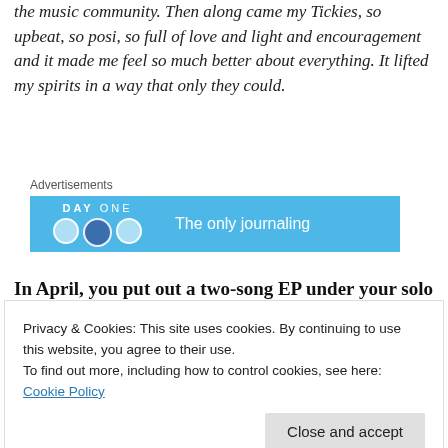the music community. Then along came my Tickies, so upbeat, so posi, so full of love and light and encouragement and it made me feel so much better about everything. It lifted my spirits in a way that only they could.
Advertisements
[Figure (other): DAY ONE app advertisement banner in blue: 'DAY ONE' logo with circular icons and text 'The only journaling']
In April, you put out a two-song EP under your solo project scrambled megaz. One of these
Privacy & Cookies: This site uses cookies. By continuing to use this website, you agree to their use.
To find out more, including how to control cookies, see here:
Cookie Policy
Close and accept
bit more about this and more broadly how